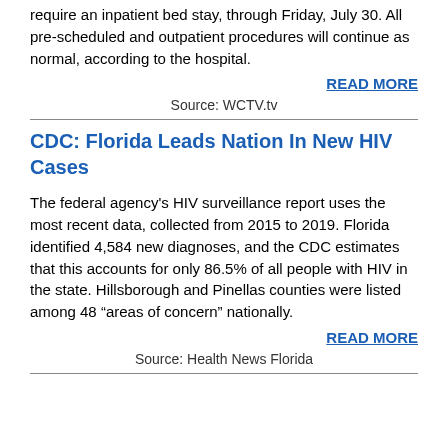require an inpatient bed stay, through Friday, July 30. All pre-scheduled and outpatient procedures will continue as normal, according to the hospital.
READ MORE
Source: WCTV.tv
CDC: Florida Leads Nation In New HIV Cases
The federal agency's HIV surveillance report uses the most recent data, collected from 2015 to 2019. Florida identified 4,584 new diagnoses, and the CDC estimates that this accounts for only 86.5% of all people with HIV in the state. Hillsborough and Pinellas counties were listed among 48 “areas of concern” nationally.
READ MORE
Source: Health News Florida